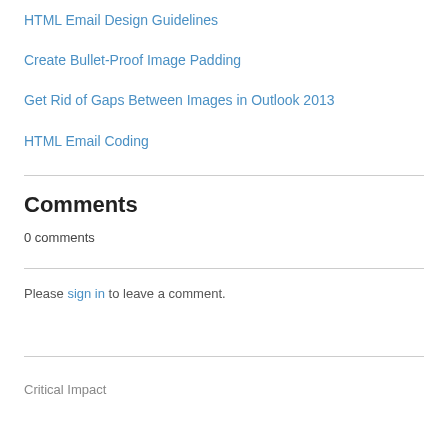HTML Email Design Guidelines
Create Bullet-Proof Image Padding
Get Rid of Gaps Between Images in Outlook 2013
HTML Email Coding
Comments
0 comments
Please sign in to leave a comment.
Critical Impact